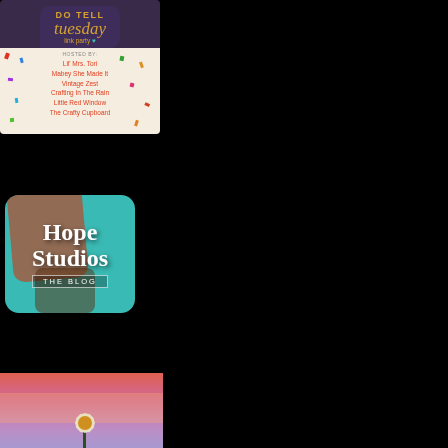[Figure (logo): Do Tell Tuesday link party badge with speech bubble design on dark purple background, hosted by Lil' Mrs. Tori, Nlaney She Made It, Vintage Zest, Crafting In The Rain, Little Red Window, The Crafty Cupboard]
[Figure (logo): Hope Studios The Blog logo on teal and red textured background with rounded corners]
[Figure (photo): Sunset photo with pink and purple sky and a daisy/flower silhouette in the foreground]